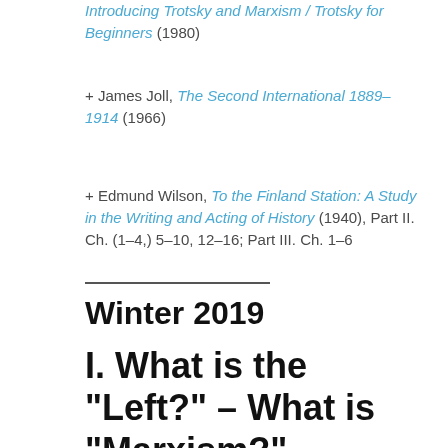Introducing Trotsky and Marxism / Trotsky for Beginners (1980)
+ James Joll, The Second International 1889–1914 (1966)
+ Edmund Wilson, To the Finland Station: A Study in the Writing and Acting of History (1940), Part II. Ch. (1–4,) 5–10, 12–16; Part III. Ch. 1–6
Winter 2019
I. What is the "Left?" – What is "Marxism?"